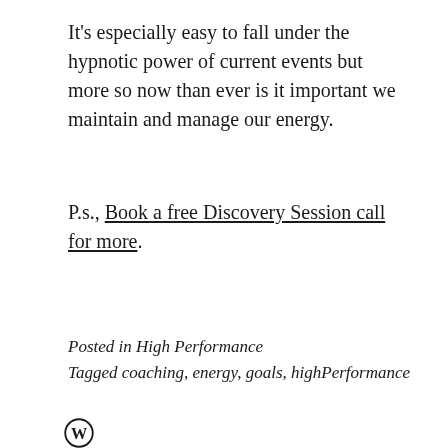It's especially easy to fall under the hypnotic power of current events but more so now than ever is it important we maintain and manage our energy.
P.s., Book a free Discovery Session call for more.
Posted in High Performance
Tagged coaching, energy, goals, highPerformance
[Figure (logo): WordPress logo — circular W icon]